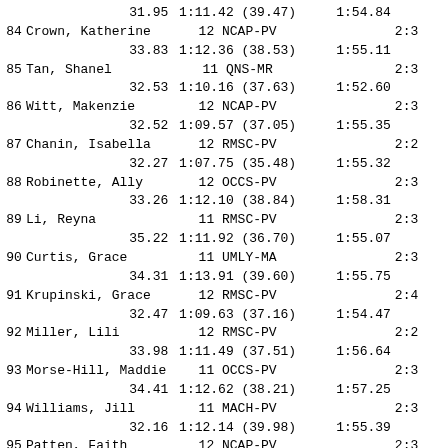| # | Name | Split | Mid | Final |
| --- | --- | --- | --- | --- |
|  | 31.95 | 1:11.42 (39.47) | 1:54.84 |  |
| 84 | Crown, Katherine | 12 NCAP-PV | 2:3 |  |
|  | 33.83 | 1:12.36 (38.53) | 1:55.11 |  |
| 85 | Tan, Shanel | 11 QNS-MR | 2:3 |  |
|  | 32.53 | 1:10.16 (37.63) | 1:52.60 |  |
| 86 | Witt, Makenzie | 12 NCAP-PV | 2:3 |  |
|  | 32.52 | 1:09.57 (37.05) | 1:55.35 |  |
| 87 | Chanin, Isabella | 12 RMSC-PV | 2:2 |  |
|  | 32.27 | 1:07.75 (35.48) | 1:55.32 |  |
| 88 | Robinette, Ally | 12 OCCS-PV | 2:3 |  |
|  | 33.26 | 1:12.10 (38.84) | 1:58.31 |  |
| 89 | Li, Reyna | 11 RMSC-PV | 2:3 |  |
|  | 35.22 | 1:11.92 (36.70) | 1:55.07 |  |
| 90 | Curtis, Grace | 11 UMLY-MA | 2:3 |  |
|  | 34.31 | 1:13.91 (39.60) | 1:55.75 |  |
| 91 | Krupinski, Grace | 12 RMSC-PV | 2:4 |  |
|  | 32.47 | 1:09.63 (37.16) | 1:54.47 |  |
| 92 | Miller, Lili | 12 RMSC-PV | 2:2 |  |
|  | 33.98 | 1:11.49 (37.51) | 1:56.64 |  |
| 93 | Morse-Hill, Maddie | 11 OCCS-PV | 2:3 |  |
|  | 34.41 | 1:12.62 (38.21) | 1:57.25 |  |
| 94 | Williams, Jill | 11 MACH-PV | 2:3 |  |
|  | 32.16 | 1:12.14 (39.98) | 1:55.39 |  |
| 95 | Patten, Faith | 12 NCAP-PV | 2:3 |  |
|  | 32.78 | 1:10.86 (38.08) | 1:56.40 |  |
| 96 | DeSiena, Kaitlyn | 12 CFJV-MR | 2:4 |  |
|  | 32.23 | 1:10.26 (38.03) | 1:57.29 |  |
| 97 | Gary, Morgan | 12 NCAP-PV | 2:3 |  |
|  | 33.08 | 1:12.56 (39.48) | 1:56.62 |  |
| 98 | Lisica, Sabrina | 12 TVSC-MR | 2:3 |  |